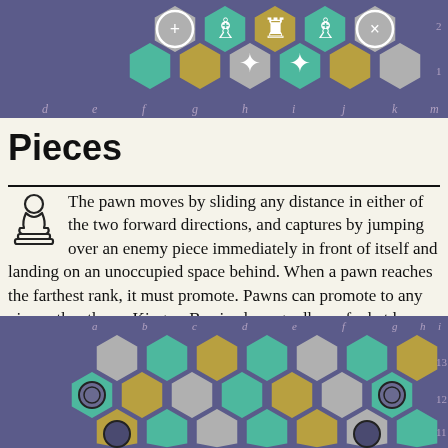[Figure (illustration): Hexagonal chess board showing the starting position with white pieces (queen, bishops, rooks, knights, pawns) on a purple/teal/gold/grey hexagonal grid with column labels d e f g h i j k l m and row numbers 1 2]
Pieces
The pawn moves by sliding any distance in either of the two forward directions, and captures by jumping over an enemy piece immediately in front of itself and landing on an unoccupied space behind. When a pawn reaches the farthest rank, it must promote. Pawns can promote to any piece other than a King or Barricade, regardless of what has been captured or not.
[Figure (illustration): Hexagonal chess board showing pawn positions with dark pawns visible on a purple/teal/gold/grey hexagonal grid with column labels a b c d e f g h i j and row numbers 11 12 13]